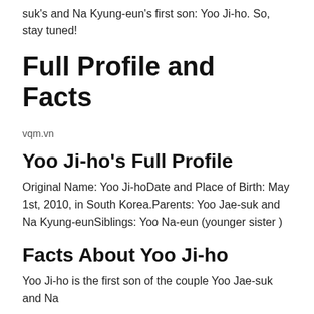suk's and Na Kyung-eun's first son: Yoo Ji-ho. So, stay tuned!
Full Profile and Facts
vqm.vn
Yoo Ji-ho's Full Profile
Original Name: Yoo Ji-hoDate and Place of Birth: May 1st, 2010, in South Korea.Parents: Yoo Jae-suk and Na Kyung-eunSiblings: Yoo Na-eun (younger sister )
Facts About Yoo Ji-ho
Yoo Ji-ho is the first son of the couple Yoo Jae-suk and Na